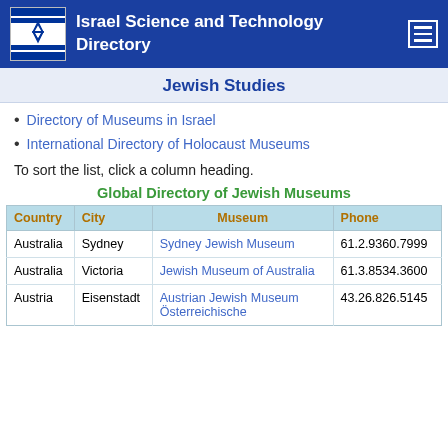Israel Science and Technology Directory
Jewish Studies
Directory of Museums in Israel
International Directory of Holocaust Museums
To sort the list, click a column heading.
Global Directory of Jewish Museums
| Country | City | Museum | Phone |
| --- | --- | --- | --- |
| Australia | Sydney | Sydney Jewish Museum | 61.2.9360.7999 |
| Australia | Victoria | Jewish Museum of Australia | 61.3.8534.3600 |
| Austria | Eisenstadt | Austrian Jewish Museum Österreichische | 43.26.826.5145 |